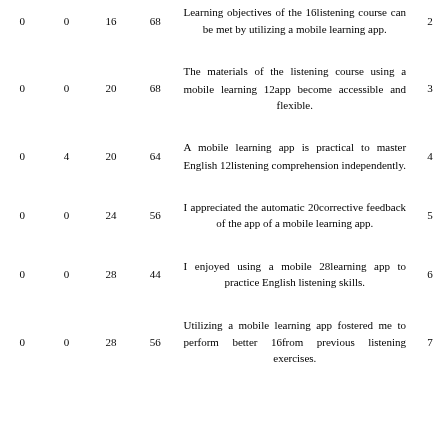| col1 | col2 | col3 | col4 | text | row_num |
| --- | --- | --- | --- | --- | --- |
| 0 | 0 | 16 | 68 | Learning objectives of the 16listening course can be met by utilizing a mobile learning app. | 2 |
| 0 | 0 | 20 | 68 | The materials of the listening course using a mobile learning 12app become accessible and flexible. | 3 |
| 0 | 4 | 20 | 64 | A mobile learning app is practical to master English 12listening comprehension independently. | 4 |
| 0 | 0 | 24 | 56 | I appreciated the automatic 20corrective feedback of the app of a mobile learning app. | 5 |
| 0 | 0 | 28 | 44 | I enjoyed using a mobile 28learning app to practice English listening skills. | 6 |
| 0 | 0 | 28 | 56 | Utilizing a mobile learning app fostered me to perform better 16from previous listening exercises. | 7 |